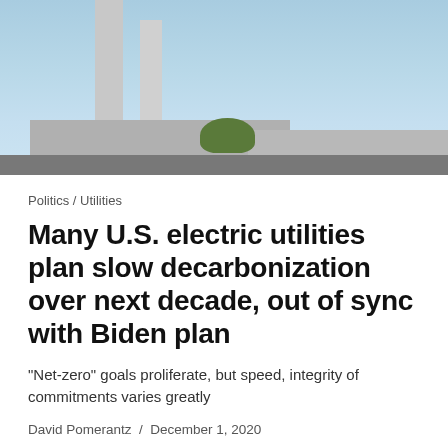[Figure (photo): Industrial power plant with two tall chimneys/smokestacks against a blue sky, with a building structure and trees visible at the base]
Politics / Utilities
Many U.S. electric utilities plan slow decarbonization over next decade, out of sync with Biden plan
“Net-zero” goals proliferate, but speed, integrity of commitments varies greatly
David Pomerantz / December 1, 2020